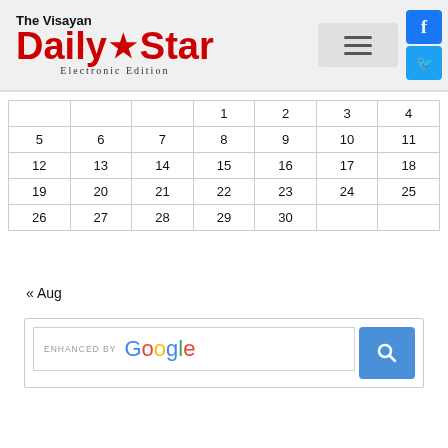[Figure (logo): The Visayan Daily Star Electronic Edition logo with red masthead and social media icons (Facebook, Twitter) and hamburger menu button]
|  |  |  |  |  |  |  |
| --- | --- | --- | --- | --- | --- | --- |
|  |  |  | 1 | 2 | 3 | 4 |
| 5 | 6 | 7 | 8 | 9 | 10 | 11 |
| 12 | 13 | 14 | 15 | 16 | 17 | 18 |
| 19 | 20 | 21 | 22 | 23 | 24 | 25 |
| 26 | 27 | 28 | 29 | 30 |  |  |
« Aug
[Figure (screenshot): Enhanced by Google search box with blue search button]